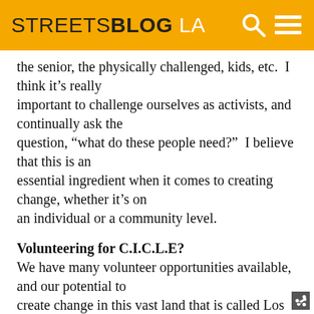STREETSBLOG LA
the senior, the physically challenged, kids, etc.  I think it's really important to challenge ourselves as activists, and continually ask the question, "what do these people need?"  I believe that this is an essential ingredient when it comes to creating change, whether it's on an individual or a community level.
Volunteering for C.I.C.L.E?
We have many volunteer opportunities available, and our potential to create change in this vast land that is called Los Angeles is only